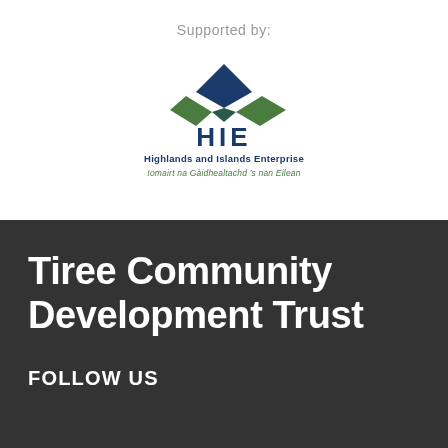Supported by:
[Figure (logo): HIE - Highlands and Islands Enterprise logo with diamond/bowtie shape in blue and green, text 'HIE', 'Highlands and Islands Enterprise', and Gaelic text 'Iomairt na Gàidhealtachd 's nan Eilean']
Tiree Community Development Trust
FOLLOW US